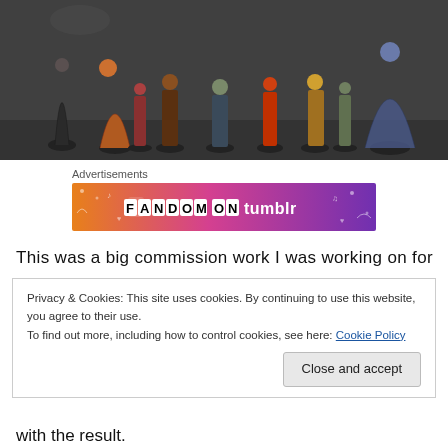[Figure (photo): Group of painted tabletop miniature figures arranged on a dark grey surface, including fantasy characters with weapons, armor, and colorful paint schemes.]
Advertisements
[Figure (illustration): Fandom on Tumblr advertisement banner with orange-to-purple gradient background and decorative doodles.]
This was a big commission work I was working on for
Privacy & Cookies: This site uses cookies. By continuing to use this website, you agree to their use.
To find out more, including how to control cookies, see here: Cookie Policy
with the result.